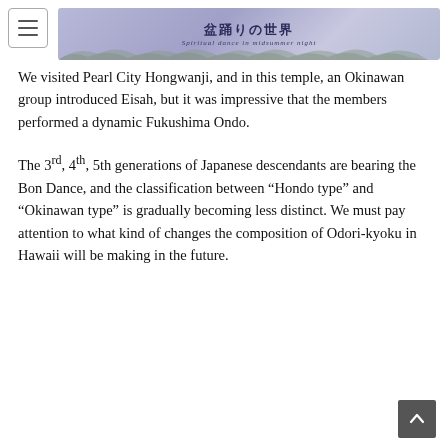盆踊りの世界 Spiritual dance in midsummer night
We visited Pearl City Hongwanji, and in this temple, an Okinawan group introduced Eisah, but it was impressive that the members performed a dynamic Fukushima Ondo.
The 3rd, 4th, 5th generations of Japanese descendants are bearing the Bon Dance, and the classification between “Hondo type” and “Okinawan type” is gradually becoming less distinct. We must pay attention to what kind of changes the composition of Odori-kyoku in Hawaii will be making in the future.